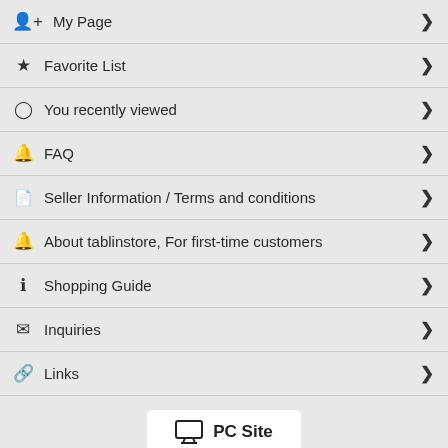My Page
Favorite List
You recently viewed
FAQ
Seller Information / Terms and conditions
About tablinstore, For first-time customers
Shopping Guide
Inquiries
Links
[Figure (other): PC Site button with monitor icon]
Copyright (C), Tablinstore. All Rights Reserved.